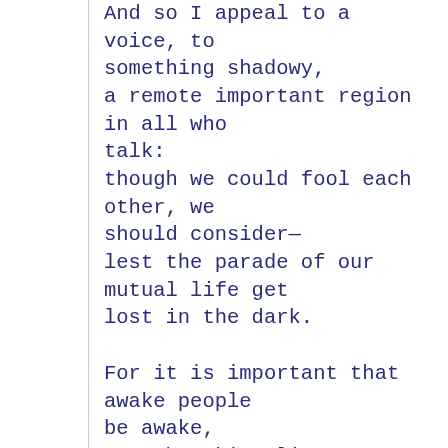And so I appeal to a voice, to something shadowy,
a remote important region in all who talk:
though we could fool each other, we should consider—
lest the parade of our mutual life get lost in the dark.

For it is important that awake people be awake,
or a breaking line may discourage them back to sleep;
the signals we give — yes or no, or maybe —
should be clear: the darkness around us is deep.
* * *
Yes. The darkness around us is deep. So